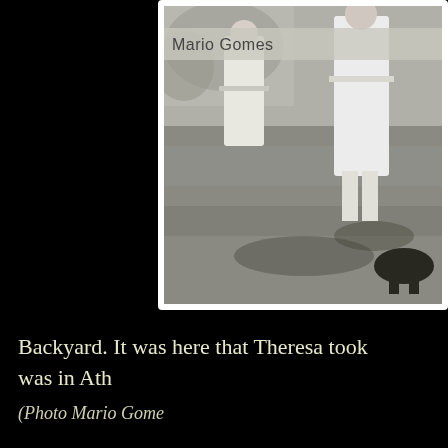[Figure (photo): Black and white vintage photograph showing figures in white dresses standing in a backyard/garden area with grass. A name label 'Mario Gomes' is overlaid on the photo.]
Backyard. It was here that Theresa took was in Ath (Photo Mario Gome